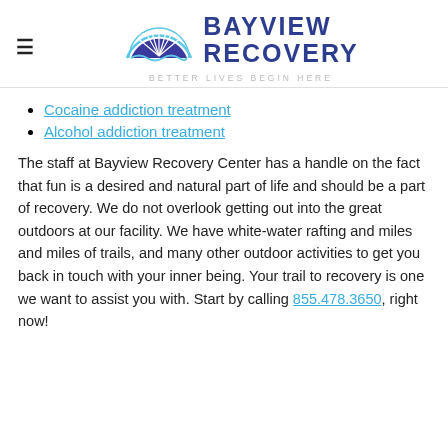[Figure (logo): Bayview Recovery logo with semicircle sun/wave graphic and text BAYVIEW RECOVERY, tagline BETTER LIVES BEGIN HERE]
Cocaine addiction treatment
Alcohol addiction treatment
The staff at Bayview Recovery Center has a handle on the fact that fun is a desired and natural part of life and should be a part of recovery. We do not overlook getting out into the great outdoors at our facility. We have white-water rafting and miles and miles of trails, and many other outdoor activities to get you back in touch with your inner being. Your trail to recovery is one we want to assist you with. Start by calling 855.478.3650, right now!